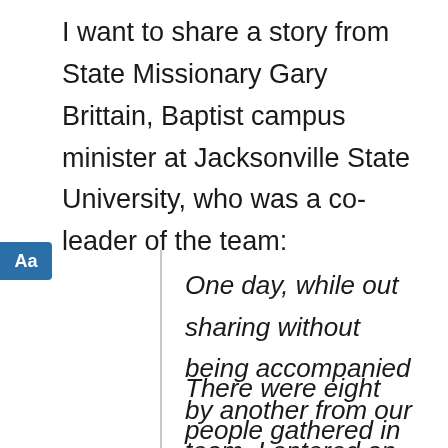I want to share a story from State Missionary Gary Brittain, Baptist campus minister at Jacksonville State University, who was a co-leader of the team:
One day, while out sharing without being accompanied by another from our team, I entered an apartment of a brother.
There were eight people gathered in the apartment, and I was introduced and invited to